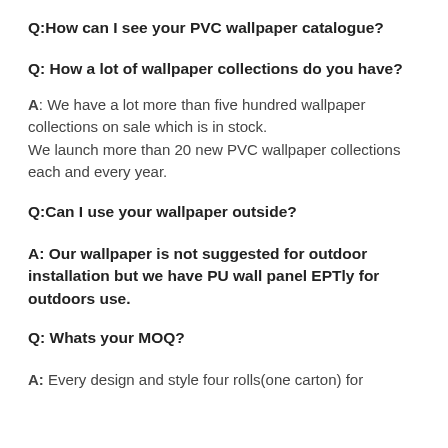Q:How can I see your PVC wallpaper catalogue?
Q: How a lot of wallpaper collections do you have?
A: We have a lot more than five hundred wallpaper collections on sale which is in stock. We launch more than 20 new PVC wallpaper collections each and every year.
Q:Can I use your wallpaper outside?
A: Our wallpaper is not suggested for outdoor installation but we have PU wall panel EPTly for outdoors use.
Q: Whats your MOQ?
A: Every design and style four rolls(one carton) for